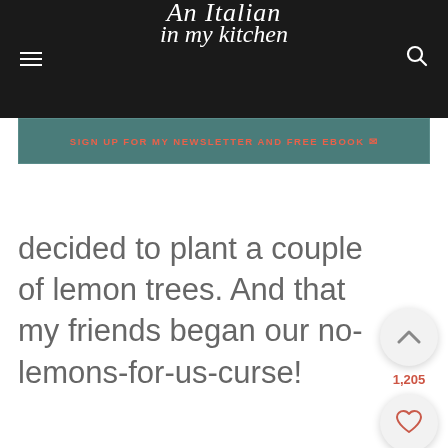An Italian in my kitchen
SIGN UP FOR MY NEWSLETTER AND FREE EBOOK 📧
decided to plant a couple of lemon trees. And that my friends began our no-lemons-for-us-curse!
[Figure (other): Floating action buttons: upvote chevron with count 1,205, heart/favorite icon, and red search icon]